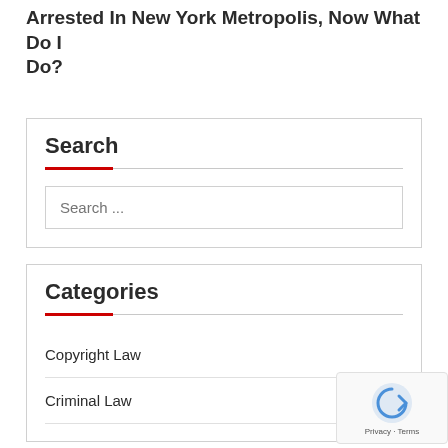Arrested In New York Metropolis, Now What Do I Do?
Search
Search ...
Categories
Copyright Law
Criminal Law